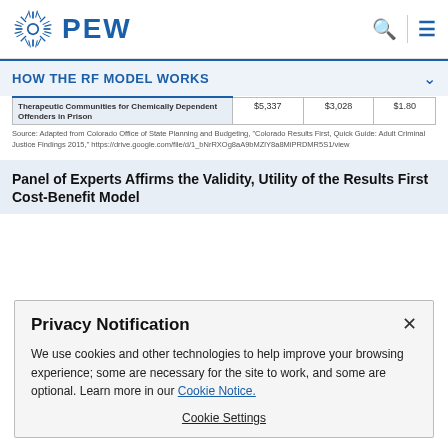PEW
HOW THE RF MODEL WORKS
| Program | Value 1 | Value 2 | Value 3 |
| --- | --- | --- | --- |
| Therapeutic Communities for Chemically Dependent Offenders in Prison | $5,337 | $3,028 | $1.80 |
Source: Adapted from Colorado Office of State Planning and Budgeting, "Colorado Results First, Quick Guide: Adult Criminal Justice Findings 2015," https://drive.google.com/file/d/1_bNrRXOg8aA9bMZlY8a8MiPRDMR5S1/view
Panel of Experts Affirms the Validity, Utility of the Results First Cost-Benefit Model
Privacy Notification
We use cookies and other technologies to help improve your browsing experience; some are necessary for the site to work, and some are optional. Learn more in our Cookie Notice.
Cookie Settings